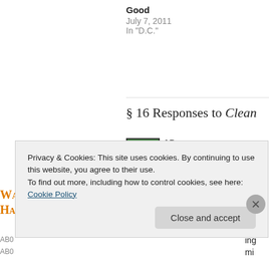Good
July 7, 2011
In "D.C."
§ 16 Responses to Clean
[Figure (illustration): Green decorative avatar icon with white geometric/floral pattern, black border]
AP
April 1, 2013 at 3:32 pm
I love this, I have been exploring my rela... habits but I loved what you said bout who...
Walking on My Hands
Privacy & Cookies: This site uses cookies. By continuing to use this website, you agree to their use.
To find out more, including how to control cookies, see here: Cookie Policy
Close and accept